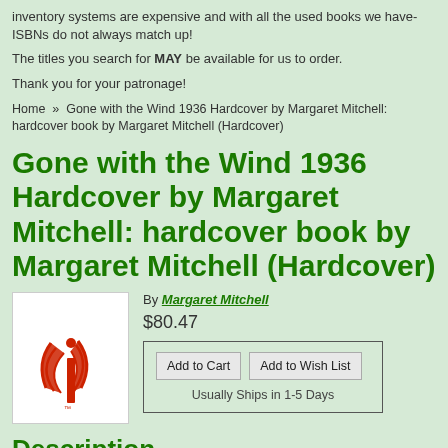inventory systems are expensive and with all the used books we have- ISBNs do not always match up!
The titles you search for MAY be available for us to order.
Thank you for your patronage!
Home  »  Gone with the Wind 1936 Hardcover by Margaret Mitchell: hardcover book by Margaret Mitchell (Hardcover)
Gone with the Wind 1936 Hardcover by Margaret Mitchell: hardcover book by Margaret Mitchell (Hardcover)
By Margaret Mitchell
$80.47
[Figure (logo): Red illustrated logo with a stylized 'i' letter and wing-like design on white background]
Add to Cart   Add to Wish List   Usually Ships in 1-5 Days
Description